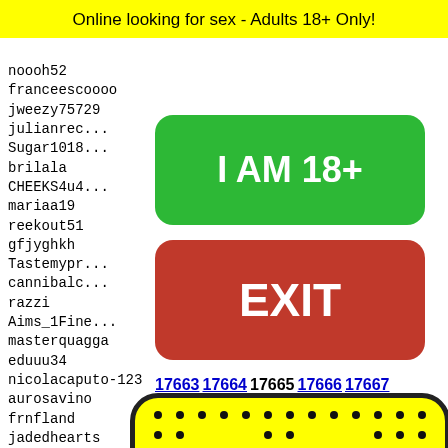Online looking for sex - Adults 18+ Only!
noooh52
franceescoooo
jweezy75729
julianrec...
Sugar1018...
brilala
CHEEKS4u4...
mariaa19
reekout51
gfjyghkh
Tastemypr...
cannibalc...
razzi
Aims_1Fine...
masterquagga
eduuu34
nicolacaputo-123
aurosavino
frnfland
jadedhearts
ppunis
Peache...
joseli...
llamaa...
breeze...
polo50
[Figure (infographic): Green button reading I AM 18+]
[Figure (infographic): Red button reading EXIT]
17663 17664 17665 17666 17667
[Figure (illustration): Snapchat ghost logo on yellow background with rounded rectangle and black border, showing dot pattern]